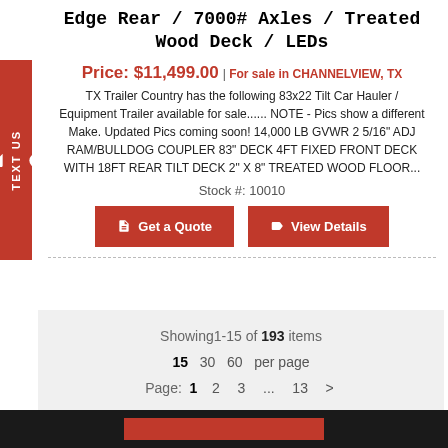Edge Rear / 7000# Axles / Treated Wood Deck / LEDs
Price: $11,499.00 | For sale in CHANNELVIEW, TX
TX Trailer Country has the following 83x22 Tilt Car Hauler / Equipment Trailer available for sale...... NOTE - Pics show a different Make. Updated Pics coming soon! 14,000 LB GVWR 2 5/16" ADJ RAM/BULLDOG COUPLER 83" DECK 4FT FIXED FRONT DECK WITH 18FT REAR TILT DECK 2" X 8" TREATED WOOD FLOOR...
Stock #: 10010
Get a Quote | View Details
Showing 1-15 of 193 items
15  30  60  per page
Page: 1  2  3  ...  13  >